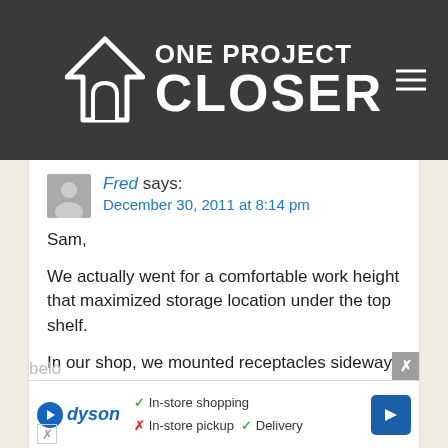[Figure (logo): One Project Closer website logo — white house icon with arch doorway and text 'ONE PROJECT CLOSER' on dark grey header background, with hamburger menu icon top right]
Fred says:
December 30, 2011 at 8:14 pm
Sam,

We actually went for a comfortable work height that maximized storage location under the top shelf.

In our shop, we mounted receptacles sideways at around 44 inches high, with pegboard starting right above those at about 47 inches. 40″ put the surface just below the receptacles and maximized the height below
[Figure (screenshot): Advertisement banner for Dyson showing in-store shopping, in-store pickup (crossed out), and delivery options with blue arrow navigation icon]